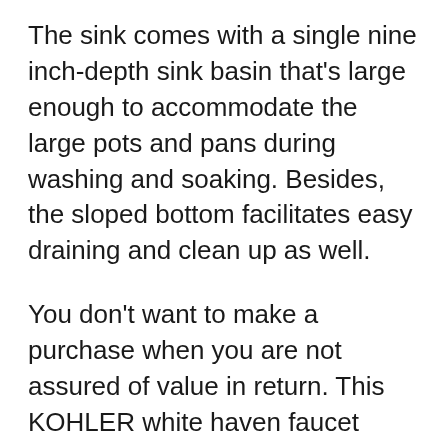The sink comes with a single nine inch-depth sink basin that's large enough to accommodate the large pots and pans during washing and soaking. Besides, the sloped bottom facilitates easy draining and clean up as well.
You don't want to make a purchase when you are not assured of value in return. This KOHLER white haven faucet comes with a lifetime limited warranty as long as the original purchaser owns the house.
Are you enthusiastic about environment conservation? It's time you add this incredible faucet to your farmhouse kitchen